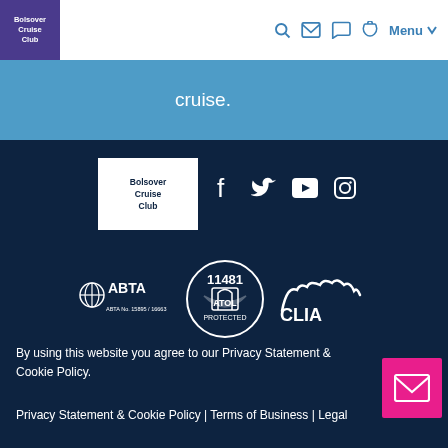Bolsover Cruise Club — navigation header with logo, search, mail, chat, phone, and Menu icons
cruise.
[Figure (logo): Bolsover Cruise Club white logo on white background in footer]
[Figure (infographic): Social media icons: Facebook, Twitter, YouTube, Instagram]
[Figure (logo): ABTA logo with ABTA No. 15895 / 16663, ATOL 11481 Protected badge, CLIA logo]
By using this website you agree to our Privacy Statement & Cookie Policy.
Privacy Statement & Cookie Policy | Terms of Business | Legal